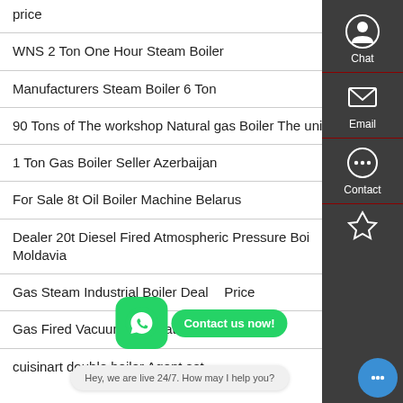price
WNS 2 Ton One Hour Steam Boiler
Manufacturers Steam Boiler 6 Ton
90 Tons of The workshop Natural gas Boiler The unit price
1 Ton Gas Boiler Seller Azerbaijan
For Sale 8t Oil Boiler Machine Belarus
Dealer 20t Diesel Fired Atmospheric Pressure Boiler Moldavia
Gas Steam Industrial Boiler Dealer Price
Gas Fired Vacuum Hot Water Boilers
cuisinart double boiler Agent set